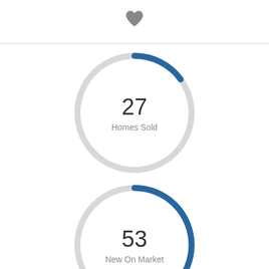[Figure (donut-chart): Homes Sold]
[Figure (donut-chart): New On Market]